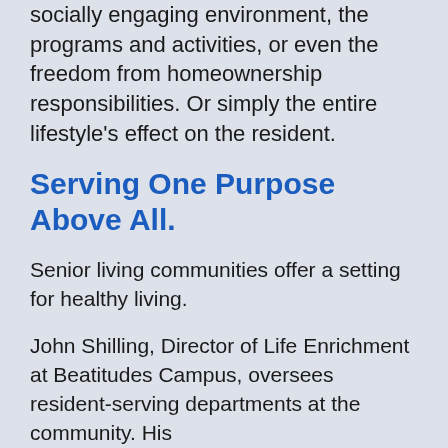socially engaging environment, the programs and activities, or even the freedom from homeownership responsibilities. Or simply the entire lifestyle's effect on the resident.
Serving One Purpose Above All.
Senior living communities offer a setting for healthy living.
John Shilling, Director of Life Enrichment at Beatitudes Campus, oversees resident-serving departments at the community. His